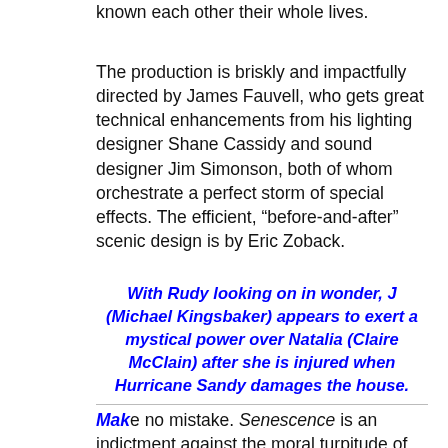known each other their whole lives.
The production is briskly and impactfully directed by James Fauvell, who gets great technical enhancements from his lighting designer Shane Cassidy and sound designer Jim Simonson, both of whom orchestrate a perfect storm of special effects. The efficient, “before-and-after” scenic design is by Eric Zoback.
With Rudy looking on in wonder, J (Michael Kingsbaker) appears to exert a mystical power over Natalia (Claire McClain) after she is injured when Hurricane Sandy damages the house.
Make no mistake. Senescence is an indictment against the moral turpitude of the oil industry, illustrating through artful